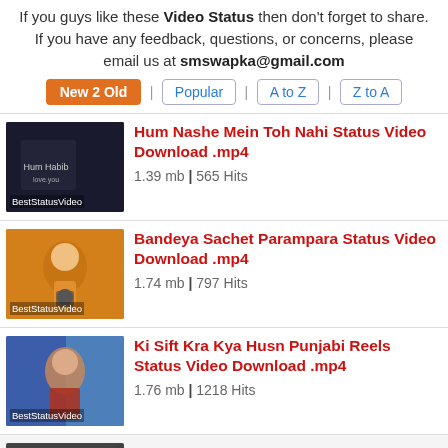If you guys like these Video Status then don't forget to share. If you have any feedback, questions, or concerns, please email us at smswapka@gmail.com
New 2 Old | Popular | A to Z | Z to A
[Figure (photo): Dark thumbnail with text 'Hum Habib' and BestStatusVideo label]
Hum Nashe Mein Toh Nahi Status Video Download .mp4
1.39 mb | 565 Hits
[Figure (photo): Woman singing at microphone, yellow outfit, BestStatusVideo label]
Bandeya Sachet Parampara Status Video Download .mp4
1.74 mb | 797 Hits
[Figure (photo): Colorful Punjabi reels scene, BestStatusVideo label]
Ki Sift Kra Kya Husn Punjabi Reels Status Video Download .mp4
1.76 mb | 1218 Hits